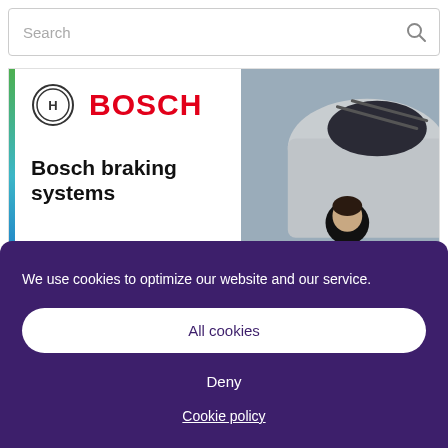Search
[Figure (screenshot): Bosch braking systems promotional banner with Bosch logo on the left and a mechanic inspecting a car wheel on the right]
We use cookies to optimize our website and our service.
All cookies
Deny
Cookie policy